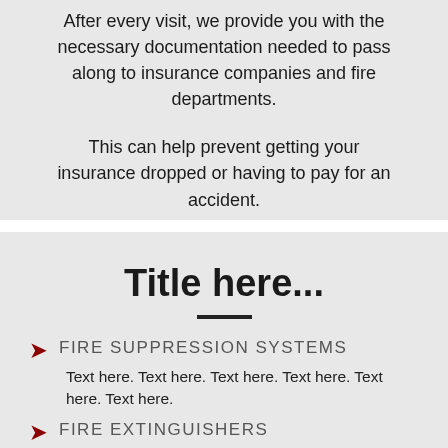After every visit, we provide you with the necessary documentation needed to pass along to insurance companies and fire departments.
This can help prevent getting your insurance dropped or having to pay for an accident.
Title here...
FIRE SUPPRESSION SYSTEMS
Text here. Text here. Text here. Text here. Text here. Text here.
FIRE EXTINGUISHERS